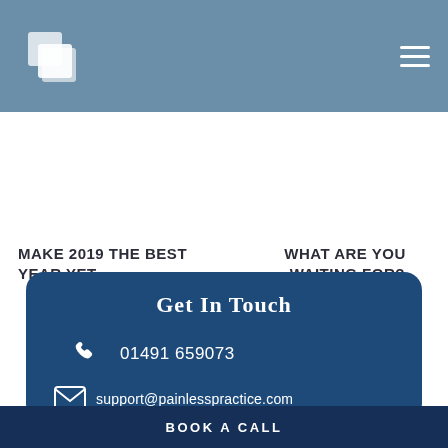[Figure (logo): White geometric steps/blocks logo on steel blue header background]
[Figure (other): Hamburger menu icon (three horizontal white lines) in top right of header]
MAKE 2019 THE BEST YEAR YET
WHAT ARE YOU WAITING FOR?
Get In Touch
01491 659073
support@painlesspractice.com
BOOK A CALL